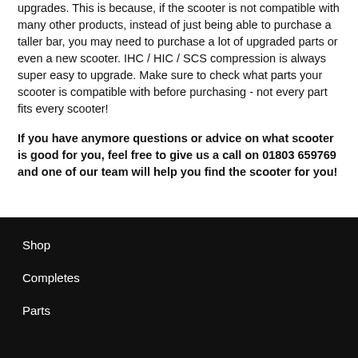upgrades. This is because, if the scooter is not compatible with many other products, instead of just being able to purchase a taller bar, you may need to purchase a lot of upgraded parts or even a new scooter. IHC / HIC / SCS compression is always super easy to upgrade. Make sure to check what parts your scooter is compatible with before purchasing - not every part fits every scooter!
If you have anymore questions or advice on what scooter is good for you, feel free to give us a call on 01803 659769 and one of our team will help you find the scooter for you!
Shop
Completes
Parts